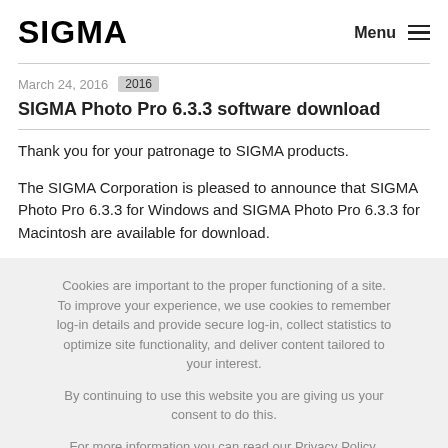SIGMA  Menu ≡
March 24, 2016  2016
SIGMA Photo Pro 6.3.3 software download
Thank you for your patronage to SIGMA products.

The SIGMA Corporation is pleased to announce that SIGMA Photo Pro 6.3.3 for Windows and SIGMA Photo Pro 6.3.3 for Macintosh are available for download.
Cookies are important to the proper functioning of a site. To improve your experience, we use cookies to remember log-in details and provide secure log-in, collect statistics to optimize site functionality, and deliver content tailored to your interest.

By continuing to use this website you are giving us your consent to do this.

For more information you can read our Privacy Policy.